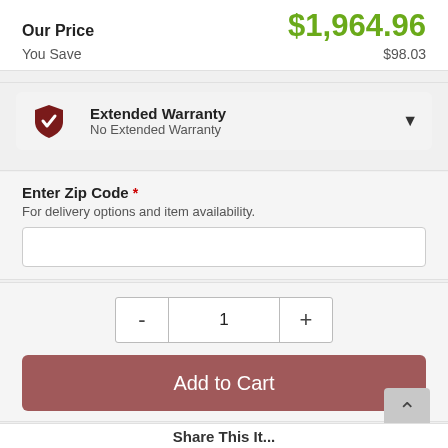Our Price  $1,964.96
You Save  $98.03
Extended Warranty
No Extended Warranty
Enter Zip Code *
For delivery options and item availability.
1
Add to Cart
Share This It...